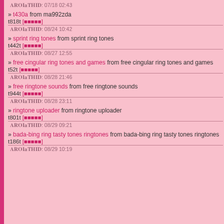07/18 02:43
» t430a from ma992zda
t818t [★★★★★]
08/24 10:42
» sprint ring tones from sprint ring tones
t442t [★★★★★]
08/27 12:55
» free cingular ring tones and games from free cingular ring tones and games
t52t [★★★★★]
08/28 21:46
» free ringtone sounds from free ringtone sounds
t944t [★★★★★]
08/28 23:11
» ringtone uploader from ringtone uploader
t801t [★★★★★]
08/29 09:21
» bada-bing ring tasty tones ringtones from bada-bing ring tasty tones ringtones
t186t [★★★★★]
08/29 10:19